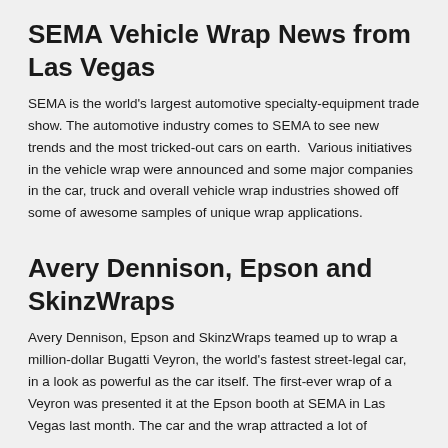SEMA Vehicle Wrap News from Las Vegas
SEMA is the world's largest automotive specialty-equipment trade show. The automotive industry comes to SEMA to see new trends and the most tricked-out cars on earth.  Various initiatives in the vehicle wrap were announced and some major companies in the car, truck and overall vehicle wrap industries showed off some of awesome samples of unique wrap applications.
Avery Dennison, Epson and SkinzWraps
Avery Dennison, Epson and SkinzWraps teamed up to wrap a million-dollar Bugatti Veyron, the world's fastest street-legal car, in a look as powerful as the car itself. The first-ever wrap of a Veyron was presented it at the Epson booth at SEMA in Las Vegas last month. The car and the wrap attracted a lot of